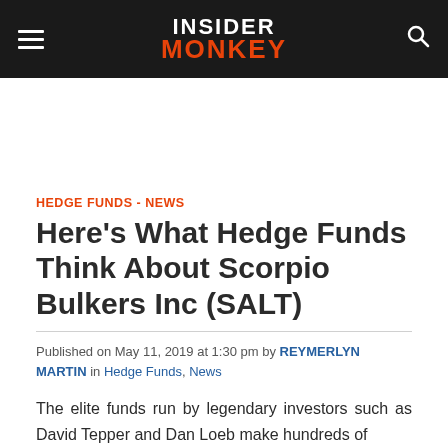INSIDER MONKEY
HEDGE FUNDS - NEWS
Here's What Hedge Funds Think About Scorpio Bulkers Inc (SALT)
Published on May 11, 2019 at 1:30 pm by REYMERLYN MARTIN in Hedge Funds, News
The elite funds run by legendary investors such as David Tepper and Dan Loeb make hundreds of